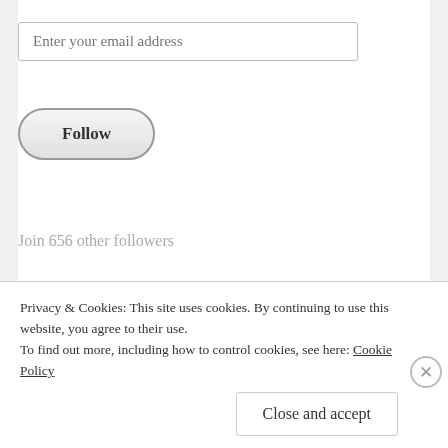Enter your email address
[Figure (other): Follow button with rounded pill shape]
Join 656 other followers
[Figure (other): WordPress Follow button: 'Follow Unmasking anti Jehovah sites and people' with count badge showing 16]
Privacy & Cookies: This site uses cookies. By continuing to use this website, you agree to their use. To find out more, including how to control cookies, see here: Cookie Policy
Close and accept